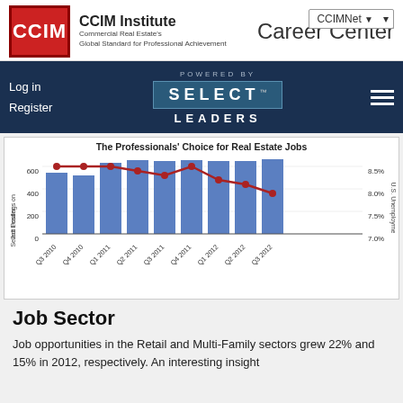[Figure (logo): CCIM Institute logo with red box and white CCIM text]
CCIM Institute
Commercial Real Estate's
Global Standard for Professional Achievement
Career Center
CCIMNet
[Figure (logo): Powered by SELECT LEADERS logo on dark navy background]
Log in
Register
[Figure (grouped-bar-chart): The Professionals' Choice for Real Estate Jobs]
Job Sector
Job opportunities in the Retail and Multi-Family sectors grew 22% and 15% in 2012, respectively. An interesting insight